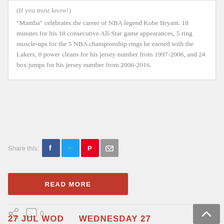(If you must know!)
“Mamba” celebrates the career of NBA legend Kobe Bryant. 18 minutes for his 18 consecutive All-Star game appearances, 5 ring muscle-ups for the 5 NBA championship rings he earned with the Lakers, 8 power cleans for his jersey number from 1997-2006, and 24 box jumps for his jersey number from 2006-2016.
[Figure (infographic): Share this: Facebook, Twitter, Pinterest, Email buttons]
[Figure (other): READ MORE red button]
[Figure (other): Share icon and comment count 0; scroll-to-top button]
27 JUL WOD   WEDNESDAY 27